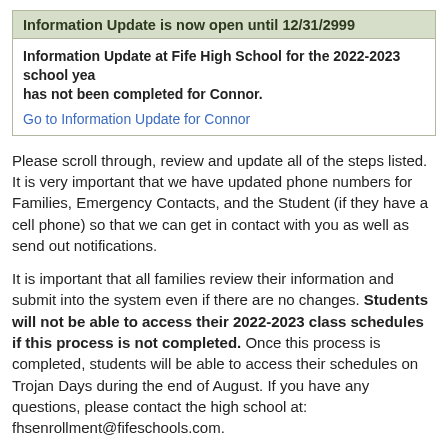Information Update is now open until 12/31/2999
Information Update at Fife High School for the 2022-2023 school year has not been completed for Connor.

Go to Information Update for Connor
Please scroll through, review and update all of the steps listed. It is very important that we have updated phone numbers for Families, Emergency Contacts, and the Student (if they have a cell phone) so that we can get in contact with you as well as send out notifications.
It is important that all families review their information and submit into the system even if there are no changes. Students will not be able to access their 2022-2023 class schedules if this process is not completed. Once this process is completed, students will be able to access their schedules on Trojan Days during the end of August. If you have any questions, please contact the high school at: fhsenrollment@fifeschools.com.